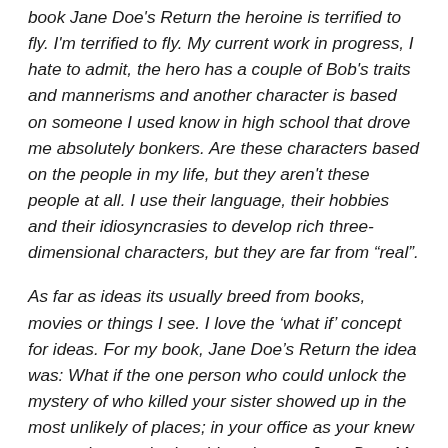book Jane Doe's Return the heroine is terrified to fly. I'm terrified to fly. My current work in progress, I hate to admit, the hero has a couple of Bob's traits and mannerisms and another character is based on someone I used know in high school that drove me absolutely bonkers. Are these characters based on the people in my life, but they aren't these people at all. I use their language, their hobbies and their idiosyncrasies to develop rich three-dimensional characters, but they are far from “real”.
As far as ideas its usually breed from books, movies or things I see. I love the ‘what if’ concept for ideas. For my book, Jane Doe’s Return the idea was: What if the one person who could unlock the mystery of who killed your sister showed up in the most unlikely of places; in your office as your knew partner but you had no idea she was Jane Doe. My current work in progress the idea is: What if